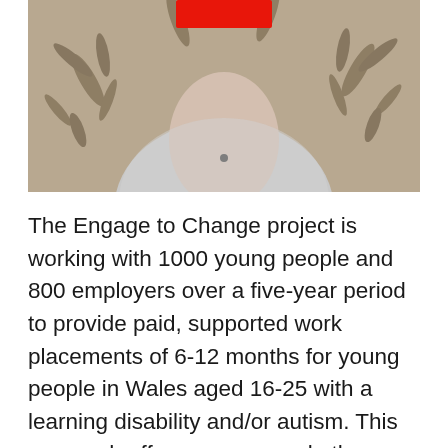[Figure (photo): A person wearing a grey/white fuzzy sweater with a microphone clip, seated in front of a patterned wallpaper with leaf/bamboo motifs. The face is redacted with a red rectangle.]
The Engage to Change project is working with 1000 young people and 800 employers over a five-year period to provide paid, supported work placements of 6-12 months for young people in Wales aged 16-25 with a learning disability and/or autism. This approach offers young people the opportunity to gain the experience and transferable skills to transition into a longer-term position. In fact, [text continues below]